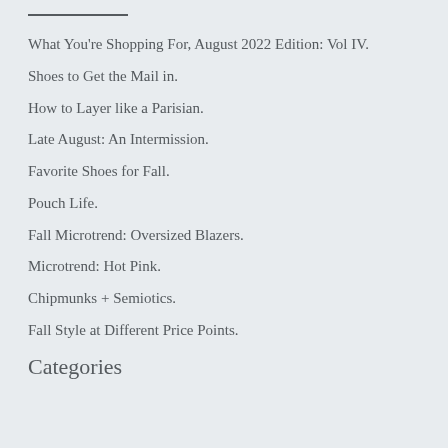What You're Shopping For, August 2022 Edition: Vol IV.
Shoes to Get the Mail in.
How to Layer like a Parisian.
Late August: An Intermission.
Favorite Shoes for Fall.
Pouch Life.
Fall Microtrend: Oversized Blazers.
Microtrend: Hot Pink.
Chipmunks + Semiotics.
Fall Style at Different Price Points.
Categories